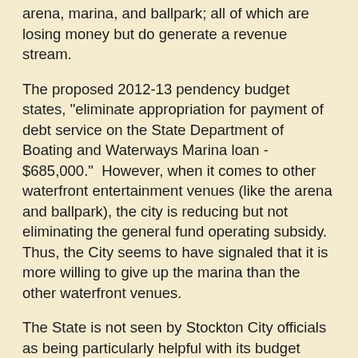arena, marina, and ballpark; all of which are losing money but do generate a revenue stream.
The proposed 2012-13 pendency budget states, "eliminate appropriation for payment of debt service on the State Department of Boating and Waterways Marina loan - $685,000."  However, when it comes to other waterfront entertainment venues (like the arena and ballpark), the city is reducing but not eliminating the general fund operating subsidy.  Thus, the City seems to have signaled that it is more willing to give up the marina than the other waterfront venues.
The State is not seen by Stockton City officials as being particularly helpful with its budget woes due to swiping redevelopment funds, realignment, inaction on pension reform (the City uses CalPers and does not have its own pension fund like San Jose), imposing the AB 506 process on bankruptcy, and sending the Comptroller in for an audit that costs the City time and money.  Add that to the burdens of the Delta Plan (both real and perceived), and I doubt anyone at City Hall feels particularly terrible about defaulting